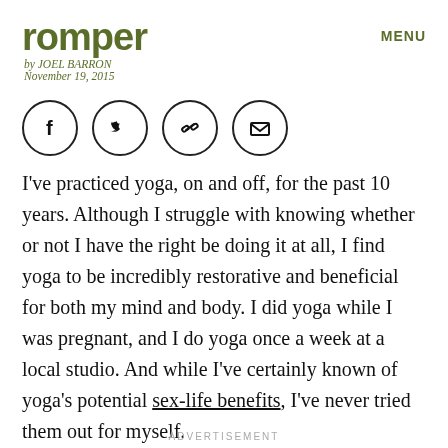romper
by JOEL BARRON · November 19, 2015
MENU
[Figure (other): Social sharing icons: Facebook, Twitter, link/chain, email envelope — each in a circle]
I've practiced yoga, on and off, for the past 10 years. Although I struggle with knowing whether or not I have the right be doing it at all, I find yoga to be incredibly restorative and beneficial for both my mind and body. I did yoga while I was pregnant, and I do yoga once a week at a local studio. And while I've certainly known of yoga's potential sex-life benefits, I've never tried them out for myself.
ADVERTISEMENT